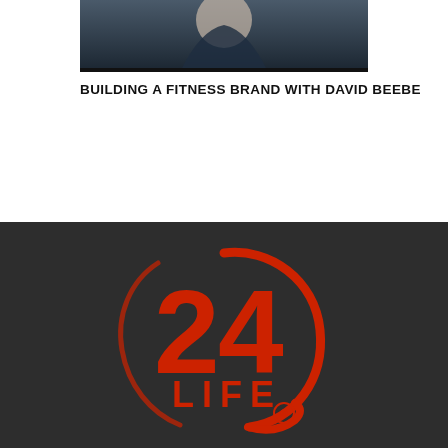[Figure (photo): Partial photo of a person wearing a navy blue outfit, cropped at top of page]
BUILDING A FITNESS BRAND WITH DAVID BEEBE
[Figure (logo): 24 Life logo in red on dark gray background - stylized number 24 with swoosh circle and LIFE text below, with registered trademark symbol]